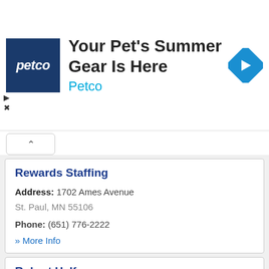[Figure (other): Petco advertisement banner with Petco logo (dark blue square with white 'petco' text), headline 'Your Pet's Summer Gear Is Here', brand name 'Petco' in blue, and a blue diamond navigation icon on the right. Small play and close controls on the left side.]
Rewards Staffing
Address: 1702 Ames Avenue
St. Paul, MN 55106
Phone: (651) 776-2222
» More Info
Robert Half
Address: 444 Cedar St Suite 1150
St. Paul, MN 55101
Phone: (651) 293-3973